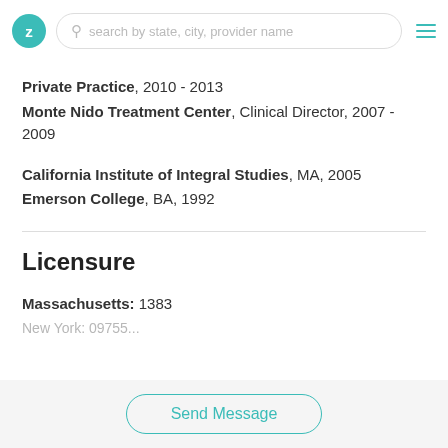Z | search by state, city, provider name
Private Practice, 2010 - 2013
Monte Nido Treatment Center, Clinical Director, 2007 - 2009
California Institute of Integral Studies, MA, 2005
Emerson College, BA, 1992
Licensure
Massachusetts: 1383
Send Message